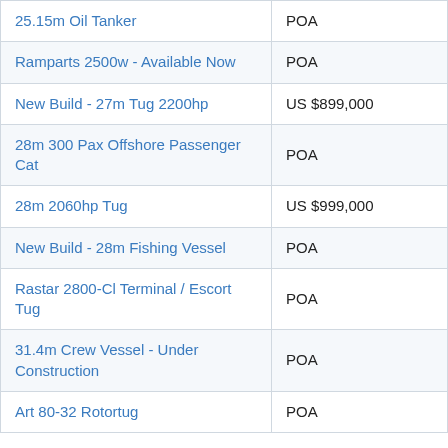| Vessel | Price |
| --- | --- |
| 25.15m Oil Tanker | POA |
| Ramparts 2500w - Available Now | POA |
| New Build - 27m Tug 2200hp | US $899,000 |
| 28m 300 Pax Offshore Passenger Cat | POA |
| 28m 2060hp Tug | US $999,000 |
| New Build - 28m Fishing Vessel | POA |
| Rastar 2800-Cl Terminal / Escort Tug | POA |
| 31.4m Crew Vessel - Under Construction | POA |
| Art 80-32 Rotortug | POA |